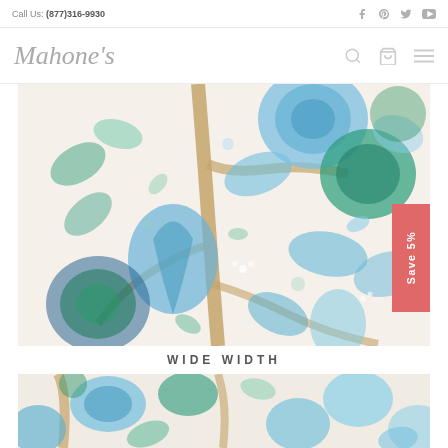Call Us: (877)316-9930
[Figure (logo): Mahone's script logo in italic gray serif font]
[Figure (photo): Wide-width floral fabric with blue, teal, and brown botanical pattern on white ground. A red 'Save 5%' badge is overlaid on the right side.]
WIDE WIDTH
[Figure (photo): Second cropped view of the same blue and teal floral fabric pattern.]